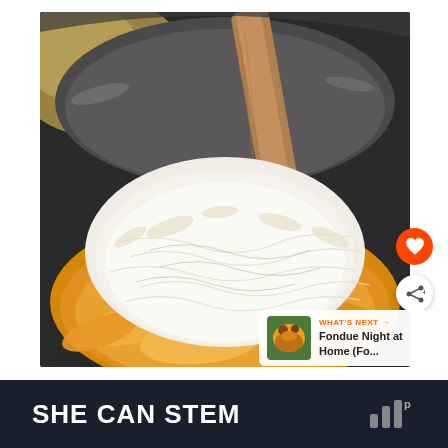[Figure (photo): Close-up photo of shredded cheese being added to a pot of mac and cheese with a wooden spoon stirring, seen from above. The pot appears to be a pressure cooker or instant pot interior. Shredded cheese (orange cheddar and white) covers the contents, and the orange cheesy mixture is visible around the edges.]
WHAT'S NEXT → Fondue Night at Home (Fo...
SHE CAN STEM